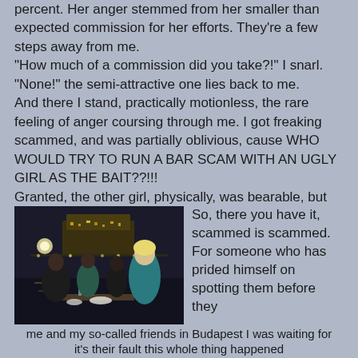percent. Her anger stemmed from her smaller than expected commission for her efforts. They're a few steps away from me.
"How much of a commission did you take?!" I snarl.
"None!" the semi-attractive one lies back to me.
And there I stand, practically motionless, the rare feeling of anger coursing through me. I got freaking scammed, and was partially oblivious, cause WHO WOULD TRY TO RUN A BAR SCAM WITH AN UGLY GIRL AS THE BAIT??!!!
Granted, the other girl, physically, was bearable, but come on.
[Figure (photo): Photo of people sitting at an outdoor restaurant/bar table at night with illuminated buildings and water visible in the background. A blonde woman in a teal dress is prominent on the right.]
So, there you have it, scammed is scammed. For someone who has prided himself on spotting them before they
me and my so-called friends in Budapest I was waiting for it's their fault this whole thing happened